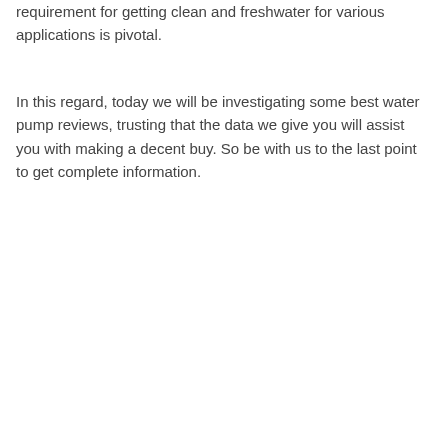requirement for getting clean and freshwater for various applications is pivotal.
In this regard, today we will be investigating some best water pump reviews, trusting that the data we give you will assist you with making a decent buy. So be with us to the last point to get complete information.